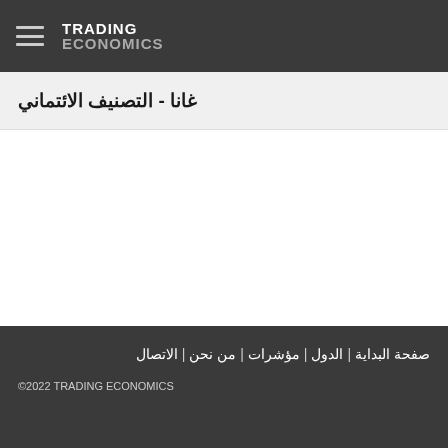TRADING ECONOMICS
غانا - التصنيف الائتماني
صفحة البداية | الدول | مؤشرات | من نحن | الاتصال
©2022 TRADING ECONOMICS